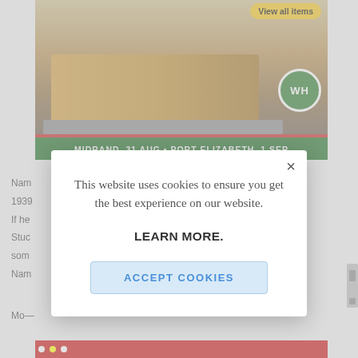[Figure (screenshot): Screenshot of a website showing a construction equipment auction advertisement with a bulldozer image, WH logo, and green banner reading 'MIDRAND, 31 AUG • PORT ELIZABETH, 1 SEP'. A cookie consent modal dialog overlays the page with text 'This website uses cookies to ensure you get the best experience on our website.' and buttons 'LEARN MORE.' and 'ACCEPT COOKIES'.]
This website uses cookies to ensure you get the best experience on our website.
LEARN MORE.
ACCEPT COOKIES